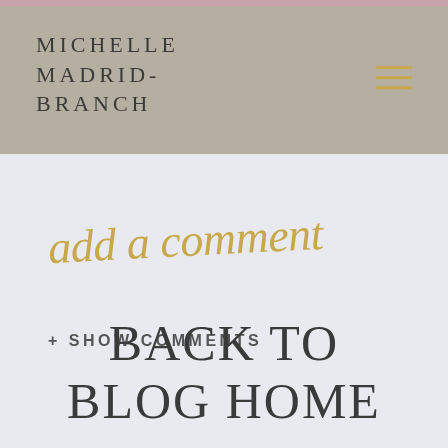MICHELLE MADRID-BRANCH
add a comment
+ SHOW COMMENTS
BACK TO BLOG HOME